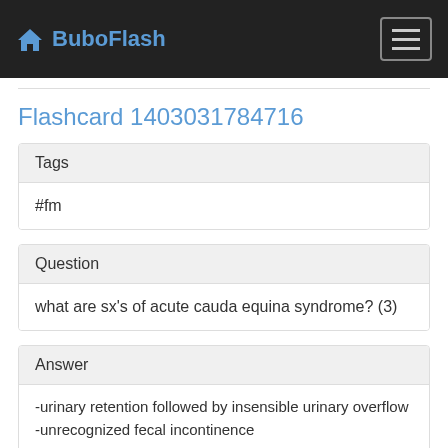BuboFlash
Flashcard 1403031784716
| Tags |
| --- |
| #fm |
| Question |
| --- |
| what are sx's of acute cauda equina syndrome? (3) |
| Answer |
| --- |
| -urinary retention followed by insensible urinary overflow
-unrecognized fecal incontinence
-distinct loss of saddle/perineal sensation |